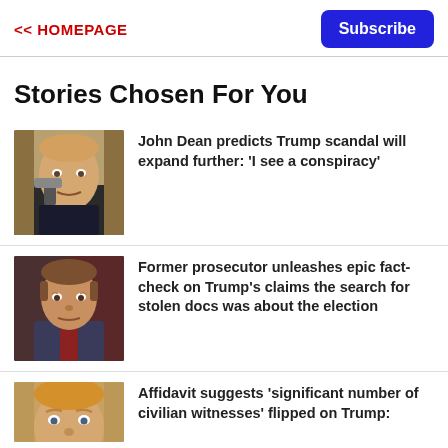<< HOMEPAGE   Subscribe
Stories Chosen For You
John Dean predicts Trump scandal will expand further: 'I see a conspiracy'
Former prosecutor unleashes epic fact-check on Trump's claims the search for stolen docs was about the election
Affidavit suggests 'significant number of civilian witnesses' flipped on Trump: